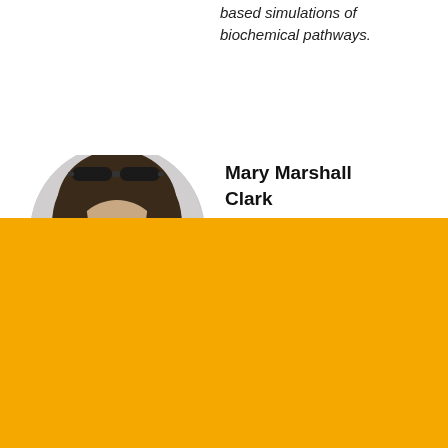based simulations of biochemical pathways.
Mary Marshall Clark
[Figure (photo): Partial head/profile photo of a person with dark hair and sunglasses on top of their head, shown in a circular crop]
This website uses cookies to identify users, improve the user experience and requires cookies to work. By continuing to use this website, you consent to Columbia University's use of cookies and similar technologies, in accordance with the Columbia University Website Cookie Notice.